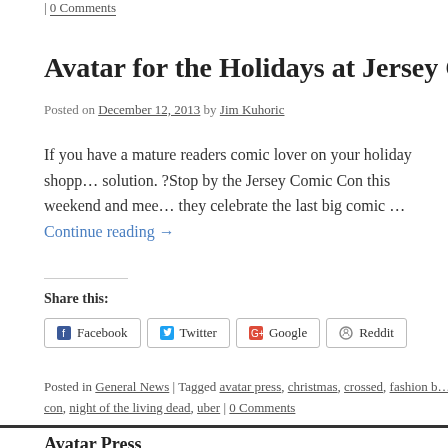| 0 Comments
Avatar for the Holidays at Jersey Comic C
Posted on December 12, 2013 by Jim Kuhoric
If you have a mature readers comic lover on your holiday shopp… solution. ?Stop by the Jersey Comic Con this weekend and mee… they celebrate the last big comic … Continue reading →
Share this:
Facebook  Twitter  Google  Reddit
Posted in General News | Tagged avatar press, christmas, crossed, fashion b… con, night of the living dead, uber | 0 Comments
Avatar Press